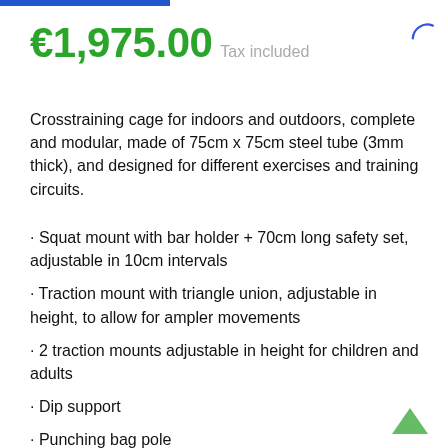€1,975.00 Tax included
Crosstraining cage for indoors and outdoors, complete and modular, made of 75cm x 75cm steel tube (3mm thick), and designed for different exercises and training circuits.
· Squat mount with bar holder + 70cm long safety set, adjustable in 10cm intervals
· Traction mount with triangle union, adjustable in height, to allow for ampler movements
· 2 traction mounts adjustable in height for children and adults
· Dip support
· Punching bag pole
· Wall ball target